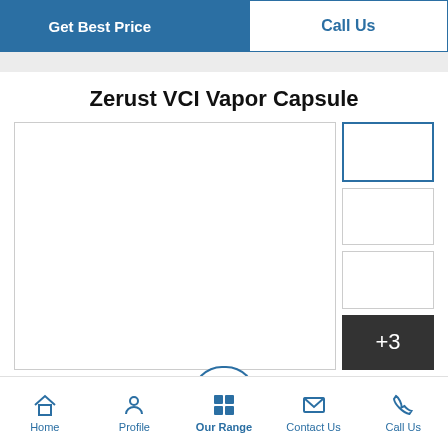Get Best Price
Call Us
Zerust VCI Vapor Capsule
[Figure (photo): Product image gallery showing Zerust VCI Vapor Capsule with main large image area and four thumbnails on the right, the last showing +3 overlay]
Home  Profile  Our Range  Contact Us  Call Us